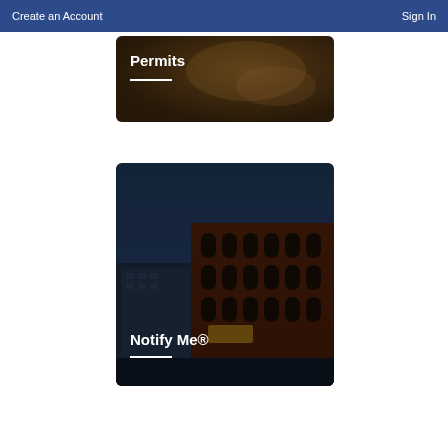Create an Account   Sign In
[Figure (screenshot): Permits card with dark brownish background image showing texture]
Permits
[Figure (photo): Notify Me card showing a dark nighttime photo of a historic brick building downtown]
Notify Me®